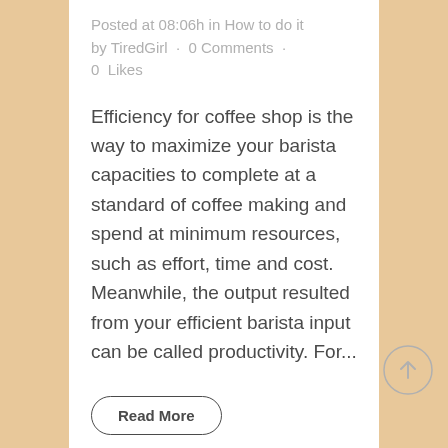Posted at 08:06h in How to do it by TiredGirl · 0 Comments · 0 Likes
Efficiency for coffee shop is the way to maximize your barista capacities to complete at a standard of coffee making and spend at minimum resources, such as effort, time and cost. Meanwhile, the output resulted from your efficient barista input can be called productivity. For...
Read More